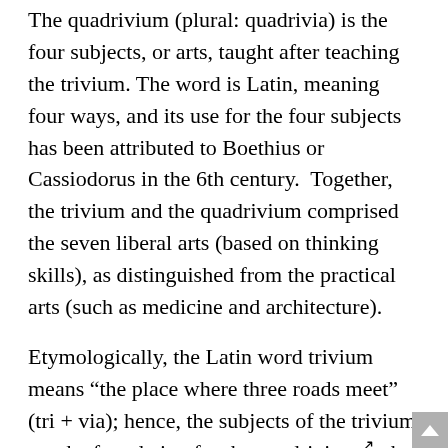The quadrivium (plural: quadrivia) is the four subjects, or arts, taught after teaching the trivium. The word is Latin, meaning four ways, and its use for the four subjects has been attributed to Boethius or Cassiodorus in the 6th century. Together, the trivium and the quadrivium comprised the seven liberal arts (based on thinking skills), as distinguished from the practical arts (such as medicine and architecture).
Etymologically, the Latin word trivium means “the place where three roads meet” (tri + via); hence, the subjects of the trivium are the foundation for the quadrivium [external link], the upper division of the medieval [external link] education in the